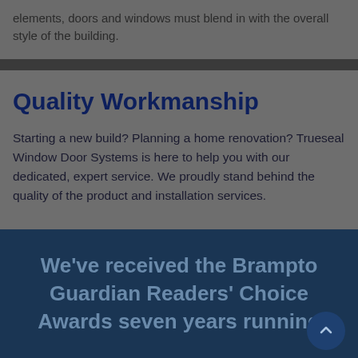elements, doors and windows must blend in with the overall style of the building.
Quality Workmanship
Starting a new build? Planning a home renovation? Trueseal Window Door Systems is here to help you with our dedicated, expert service. We proudly stand behind the quality of the product and installation services.
We've received the Brampton Guardian Readers' Choice Awards seven years running